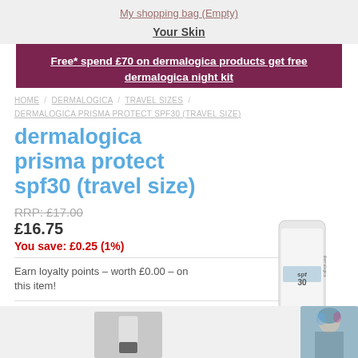My shopping bag (Empty)
Your Skin
Free* spend £70 on dermalogica products get free dermalogica night kit
HOME / DERMALOGICA / TRAVEL SIZES / DERMALOGICA PRISMA PROTECT SPF30 (TRAVEL SIZE)
dermalogica prisma protect spf30 (travel size)
RRP: £17.00
£16.75
You save: £0.25 (1%)
Earn loyalty points – worth £0.00 – on this item!
[Figure (photo): Dermalogica prisma protect SPF30 travel size tube product photo]